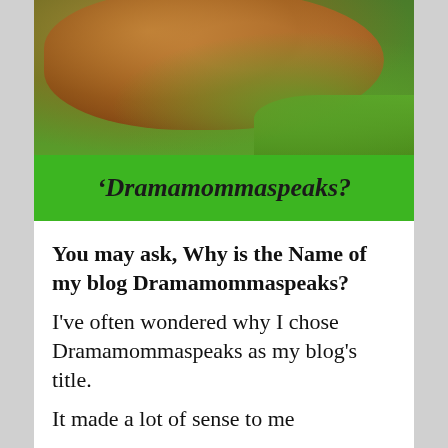[Figure (photo): A brown cow's head/face close-up with green grass in the background, with a green banner below reading 'Dramamommaspeaks?']
Dramamommaspeaks?
You may ask, Why is the Name of my blog Dramamommaspeaks?
I've often wondered why I chose Dramamommaspeaks as my blog's title.
It made a lot of sense to me